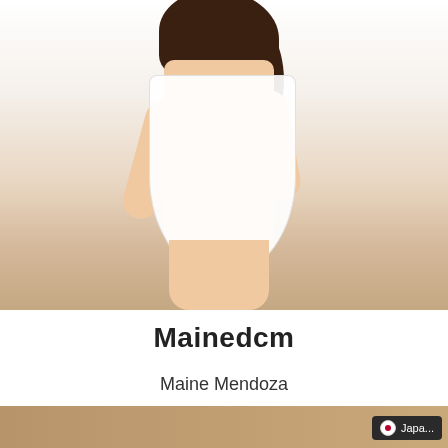[Figure (photo): A young woman in a white sleeveless dress with pearl/lace details, posing with dark wavy hair, against a white background.]
Mainedcm
Maine Mendoza
[Figure (photo): Partial bottom strip image, partially visible at the very bottom of the page. Japan flag badge with text 'Japa...' shown in dark rounded rectangle.]